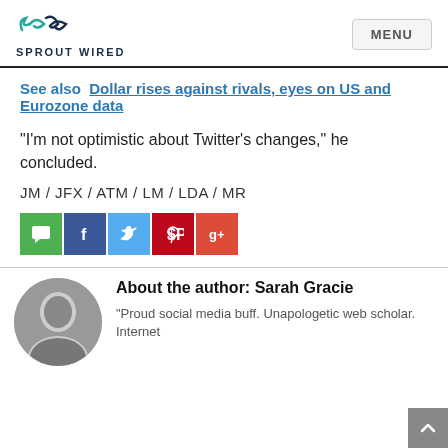SPROUT WIRED | MENU
See also  Dollar rises against rivals, eyes on US and Eurozone data
“I’m not optimistic about Twitter’s changes,” he concluded.
JM / JFX / ATM / LM / LDA / MR
[Figure (infographic): Social sharing buttons: comment (green), Facebook (blue), Twitter (light blue), Pinterest (red), Google+ (orange-red)]
About the author: Sarah Gracie
"Proud social media buff. Unapologetic web scholar. Internet